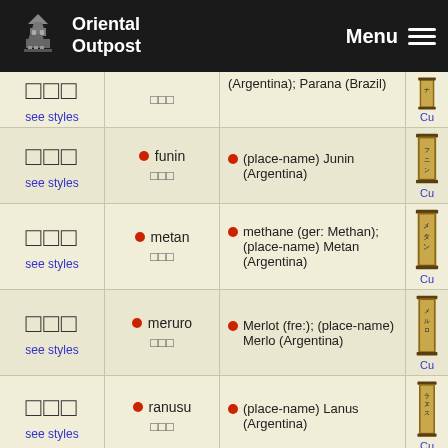Oriental Outpost — Menu
| Kanji | Romaji | Meaning | Scroll |
| --- | --- | --- | --- |
| □□□ | funin □□□ | ● (place-name) Junin (Argentina) | Cu |
| □□□ | metan □□□ | ● methane (ger: Methan); (place-name) Metan (Argentina) | Cu |
| □□□ | meruro □□□ | ● Merlot (fre:); (place-name) Merlo (Argentina) | Cu |
| □□□ | ranusu □□□ | ● (place-name) Lanus (Argentina) | Cu |